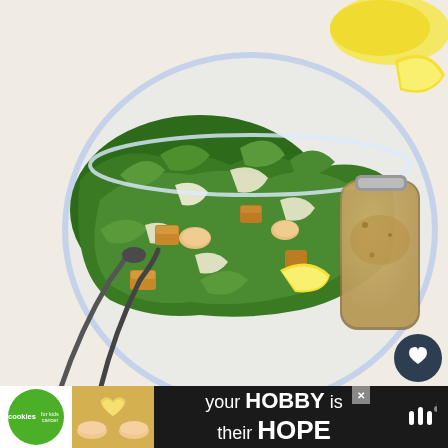[Figure (photo): A glass bowl filled with a kale Caesar salad, including romaine lettuce, kale, large shaved parmesan cheese pieces, croutons, and lemon wedges. A glass pitcher of creamy Caesar dressing is visible to the right. Tongs are in the bowl. A lemon wedge is in background.]
the perfect lunch
What can I substitute for
WHAT'S NEXT → Keto Chicken Sa (bacon+avocado
You may use any lettuce of preference.
[Figure (infographic): Advertisement banner: Cookies for Kids Cancer with a cookie shaped heart. Text reads 'your HOBBY is their HOPE']